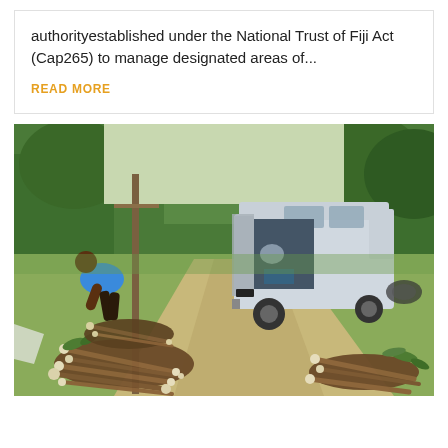authorityestablished under the National Trust of Fiji Act (Cap265) to manage designated areas of...
READ MORE
[Figure (photo): Outdoor scene showing a person in a blue shirt bending over piles of cassava/yam plants and roots near a utility pole on a dirt path. A silver Nissan NV350 van with its rear hatch open is parked on the grassy dirt road, with tropical forest in the background. More piles of harvested root crops are scattered on the ground in the foreground.]